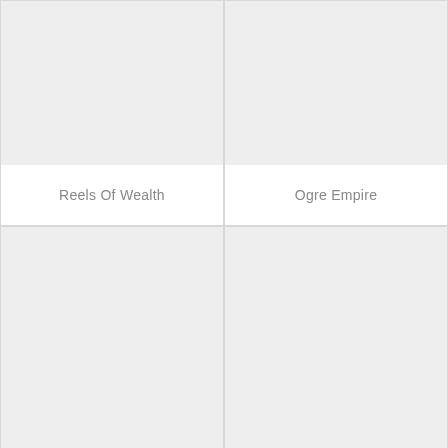[Figure (illustration): Placeholder image tile for Reels Of Wealth game, light grey background]
Reels Of Wealth
[Figure (illustration): Placeholder image tile for Ogre Empire game, light grey background]
Ogre Empire
[Figure (illustration): Placeholder image tile bottom left, light grey background, no label visible]
[Figure (illustration): Placeholder image tile bottom right, light grey background, no label visible]